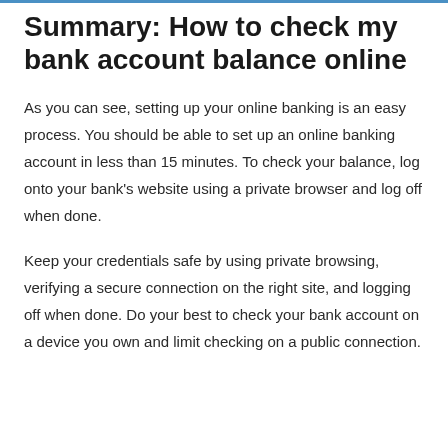Summary: How to check my bank account balance online
As you can see, setting up your online banking is an easy process. You should be able to set up an online banking account in less than 15 minutes. To check your balance, log onto your bank's website using a private browser and log off when done.
Keep your credentials safe by using private browsing, verifying a secure connection on the right site, and logging off when done. Do your best to check your bank account on a device you own and limit checking on a public connection.